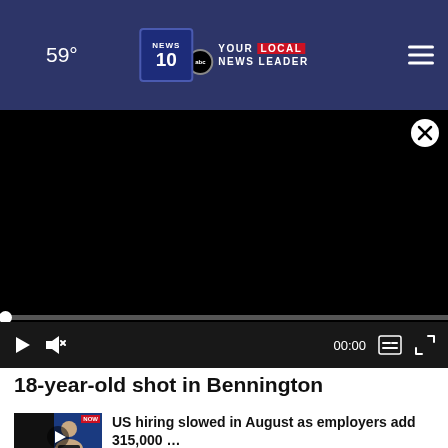59° NEWS 10 YOUR LOCAL NEWS LEADER
[Figure (screenshot): Black video player with close button (X), progress bar, and playback controls showing 00:00 timestamp with play, mute, captions, and fullscreen buttons]
18-year-old shot in Bennington
[Figure (screenshot): Thumbnail of a news segment showing a female news anchor, with a play button overlay]
US hiring slowed in August as employers add 315,000 ...